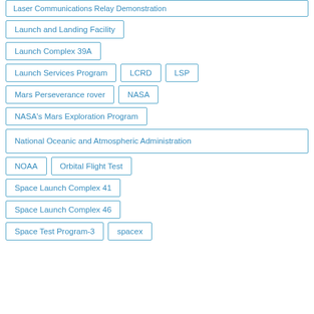Laser Communications Relay Demonstration
Launch and Landing Facility
Launch Complex 39A
Launch Services Program
LCRD
LSP
Mars Perseverance rover
NASA
NASA's Mars Exploration Program
National Oceanic and Atmospheric Administration
NOAA
Orbital Flight Test
Space Launch Complex 41
Space Launch Complex 46
Space Test Program-3
spacex